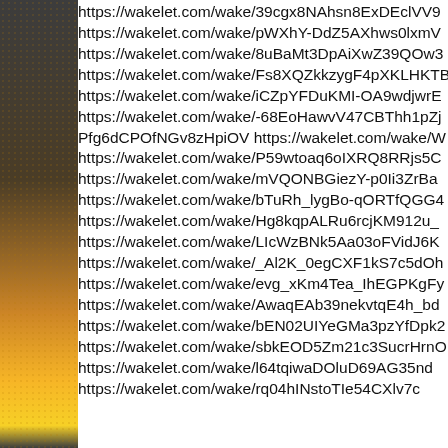https://wakelet.com/wake/39cgx8NAhsn8ExDEclVV9
https://wakelet.com/wake/pWXhY-DdZ5AXhws0lxmV
https://wakelet.com/wake/8uBaMt3DpAiXwZ39QOw3
https://wakelet.com/wake/Fs8XQZkkzygF4pXKLHKTB
https://wakelet.com/wake/iCZpYFDuKMI-OA9wdjwrE
https://wakelet.com/wake/-68EoHawvV47CBThh1pZj
Pfg6dCPOfNGv8zHpiOV https://wakelet.com/wake/W
https://wakelet.com/wake/P59wtoaq6oIXRQ8RRjs5C
https://wakelet.com/wake/mVQONBGiezY-p0Ii3ZrBa
https://wakelet.com/wake/bTuRh_lygBo-qORTfQGG4
https://wakelet.com/wake/Hg8kqpALRu6rcjKM912u_
https://wakelet.com/wake/LIcWzBNk5Aa03oFVidJ6K
https://wakelet.com/wake/_Al2K_0egCXF1kS7c5dOh
https://wakelet.com/wake/evg_xKm4Tea_IhEGPKgFy
https://wakelet.com/wake/AwaqEAb39nekvtqE4h_bd
https://wakelet.com/wake/bEN02UIYeGMa3pzYfDpk2
https://wakelet.com/wake/sbkEOD5Zm21c3SucrHrnO
https://wakelet.com/wake/l64tqiwaDOluD69AG35nd
https://wakelet.com/wake/rq04hINstoTIe54CXlv7c